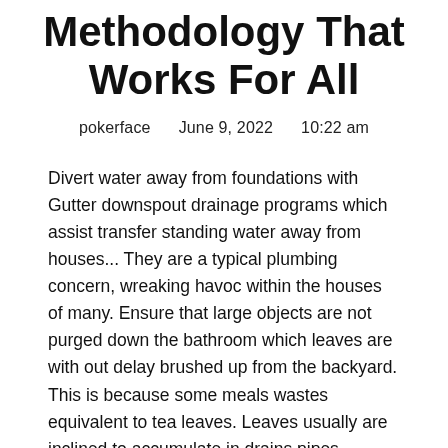Methodology That Works For All
pokerface   June 9, 2022   10:22 am
Divert water away from foundations with Gutter downspout drainage programs which assist transfer standing water away from houses... They are a typical plumbing concern, wreaking havoc within the houses of many. Ensure that large objects are not purged down the bathroom which leaves are with out delay brushed up from the backyard. This is because some meals wastes equivalent to tea leaves. Leaves usually are inclined to accumulate in drains pipes, therefore, inflicting the drains to dam. You should dispose of them in a